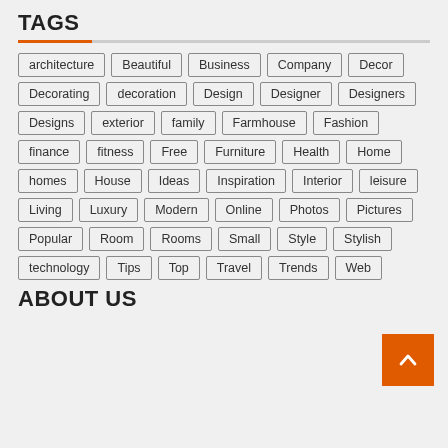TAGS
architecture, Beautiful, Business, Company, Decor, Decorating, decoration, Design, Designer, Designers, Designs, exterior, family, Farmhouse, Fashion, finance, fitness, Free, Furniture, Health, Home, homes, House, Ideas, Inspiration, Interior, leisure, Living, Luxury, Modern, Online, Photos, Pictures, Popular, Room, Rooms, Small, Style, Stylish, technology, Tips, Top, Travel, Trends, Web
ABOUT US